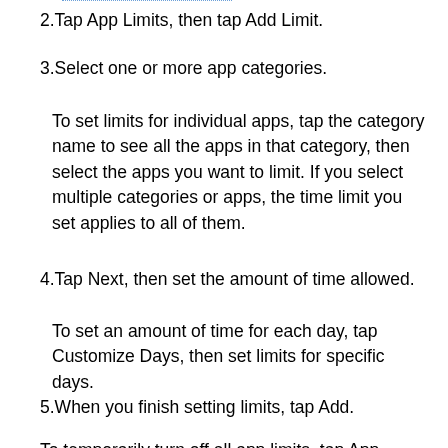2. Tap App Limits, then tap Add Limit.
3. Select one or more app categories.
To set limits for individual apps, tap the category name to see all the apps in that category, then select the apps you want to limit. If you select multiple categories or apps, the time limit you set applies to all of them.
4. Tap Next, then set the amount of time allowed.
To set an amount of time for each day, tap Customize Days, then set limits for specific days.
5. When you finish setting limits, tap Add.
To temporarily turn off all app limits, tap App Limits on the App Limits screen. To temporarily turn off a